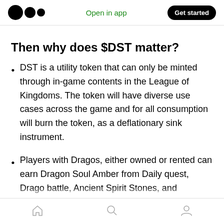Medium app navigation bar with logo, Open in app link, and Get started button
Then why does $DST matter?
DST is a utility token that can only be minted through in-game contents in the League of Kingdoms. The token will have diverse use cases across the game and for all consumption will burn the token, as a deflationary sink instrument.
Players with Dragos, either owned or rented can earn Dragon Soul Amber from Daily quest, Drago battle, Ancient Spirit Stones, and potentially many new game contents and
Bottom navigation bar with home, search, and profile icons